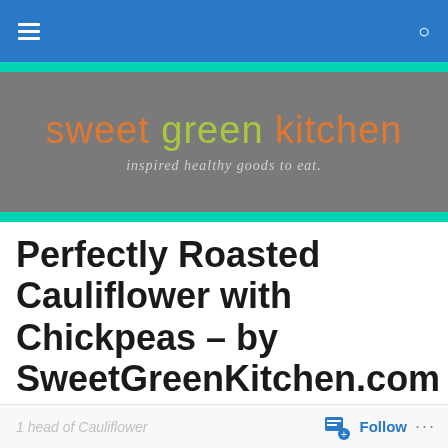Sweet Green Kitchen – inspired healthy goods to eat.
[Figure (logo): Sweet Green Kitchen logo on gray background with tagline 'inspired healthy goods to eat.']
Perfectly Roasted Cauliflower with Chickpeas – by SweetGreenKitchen.com
Perfectly Roasted Cauliflower with Chickpeas
Ingredients:
1 head of Cauliflower